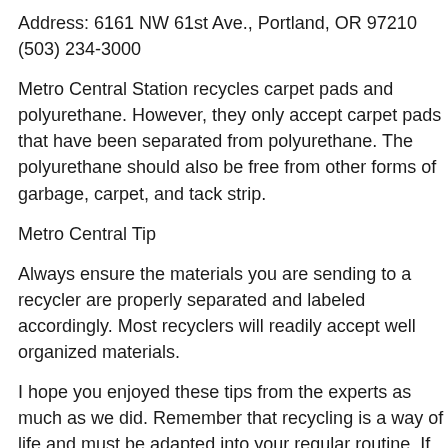Address: 6161 NW 61st Ave., Portland, OR 97210 (503) 234-3000
Metro Central Station recycles carpet pads and polyurethane. However, they only accept carpet pads that have been separated from polyurethane. The polyurethane should also be free from other forms of garbage, carpet, and tack strip.
Metro Central Tip
Always ensure the materials you are sending to a recycler are properly separated and labeled accordingly. Most recyclers will readily accept well organized materials.
I hope you enjoyed these tips from the experts as much as we did. Remember that recycling is a way of life and must be adapted into your regular routine. If you have a running, wrecked, or junk car and you want to turn it into cash contact us today. Fill out the form on the right side of the page or call us at 503-810-3061 and we'll give you a hassle free quote.